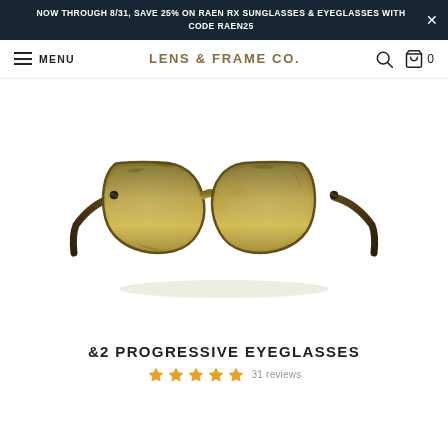NOW THROUGH 8/31, SAVE 25% ON RAEN RX SUNGLASSES & EYEGLASSES WITH CODE RAEN25
MENU | LENS & FRAME CO. | [search] [cart] 0
[Figure (photo): A pair of tortoise-shell / olive green round eyeglasses frames photographed straight-on against a white background]
&2 PROGRESSIVE EYEGLASSES
★★★★★ 31 reviews